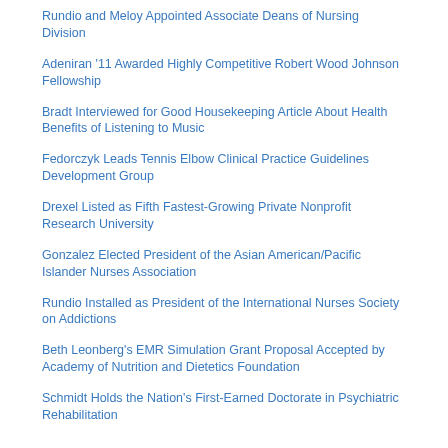Rundio and Meloy Appointed Associate Deans of Nursing Division
Adeniran '11 Awarded Highly Competitive Robert Wood Johnson Fellowship
Bradt Interviewed for Good Housekeeping Article About Health Benefits of Listening to Music
Fedorczyk Leads Tennis Elbow Clinical Practice Guidelines Development Group
Drexel Listed as Fifth Fastest-Growing Private Nonprofit Research University
Gonzalez Elected President of the Asian American/Pacific Islander Nurses Association
Rundio Installed as President of the International Nurses Society on Addictions
Beth Leonberg's EMR Simulation Grant Proposal Accepted by Academy of Nutrition and Dietetics Foundation
Schmidt Holds the Nation's First-Earned Doctorate in Psychiatric Rehabilitation